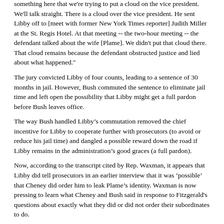something here that we're trying to put a cloud on the vice president. We'll talk straight. There is a cloud over the vice president. He sent Libby off to [meet with former New York Times reporter] Judith Miller at the St. Regis Hotel. At that meeting -- the two-hour meeting -- the defendant talked about the wife [Plame]. We didn't put that cloud there. That cloud remains because the defendant obstructed justice and lied about what happened."
The jury convicted Libby of four counts, leading to a sentence of 30 months in jail. However, Bush commuted the sentence to eliminate jail time and left open the possibility that Libby might get a full pardon before Bush leaves office.
The way Bush handled Libbys commutation removed the chief incentive for Libby to cooperate further with prosecutors (to avoid or reduce his jail time) and dangled a possible reward down the road if Libby remains in the administrations good graces (a full pardon).
Now, according to the transcript cited by Rep. Waxman, it appears that Libby did tell prosecutors in an earlier interview that it was possible that Cheney did order him to leak Plames identity. Waxman is now pressing to learn what Cheney and Bush said in response to Fitzgerald's questions about exactly what they did or did not order their subordinates to do.
Jason Leopold is the author of "News Junkie," a memoir. Visit www.newsjunkiebook.com for a preview. His new website is The Public Record.
Copyright © 1998-2007 Online Journal
Email Online Journal Editor